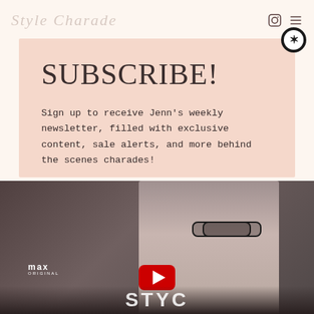Style Charade
SUBSCRIBE!
Sign up to receive Jenn's weekly newsletter, filled with exclusive content, sale alerts, and more behind the scenes charades!
EMAIL ADDRESS
[Figure (screenshot): White email address input field]
[Figure (screenshot): White subscribe button with italic text 'subscribe!']
[Figure (screenshot): Video thumbnail at bottom showing a person with glasses and a YouTube play button, with max ORIGINAL logo text and partial show title text]